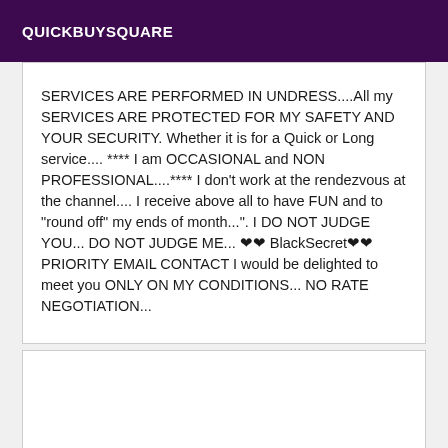QUICKBUYSQUARE
SERVICES ARE PERFORMED IN UNDRESS....All my SERVICES ARE PROTECTED FOR MY SAFETY AND YOUR SECURITY. Whether it is for a Quick or Long service.... **** I am OCCASIONAL and NON PROFESSIONAL....**** I don't work at the rendezvous at the channel.... I receive above all to have FUN and to "round off" my ends of month...". I DO NOT JUDGE YOU... DO NOT JUDGE ME... ❤❤ BlackSecret❤❤ PRIORITY EMAIL CONTACT I would be delighted to meet you ONLY ON MY CONDITIONS... NO RATE NEGOTIATION...
[Figure (other): Empty white box below the text content block]